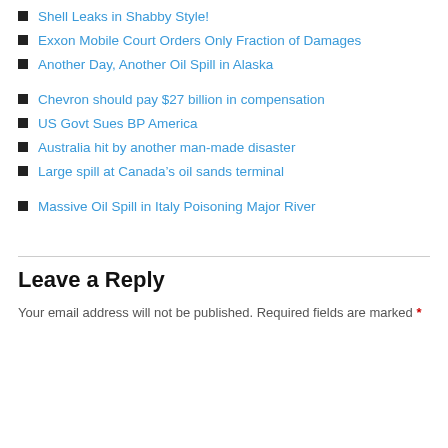Shell Leaks in Shabby Style!
Exxon Mobile Court Orders Only Fraction of Damages
Another Day, Another Oil Spill in Alaska
Chevron should pay $27 billion in compensation
US Govt Sues BP America
Australia hit by another man-made disaster
Large spill at Canada’s oil sands terminal
Massive Oil Spill in Italy Poisoning Major River
Leave a Reply
Your email address will not be published. Required fields are marked *